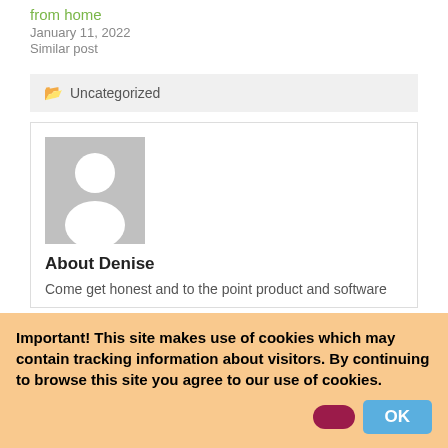from home
January 11, 2022
Similar post
📁 Uncategorized
[Figure (illustration): Grey placeholder avatar with white person silhouette]
About Denise
Come get honest and to the point product and software
Important! This site makes use of cookies which may contain tracking information about visitors. By continuing to browse this site you agree to our use of cookies.